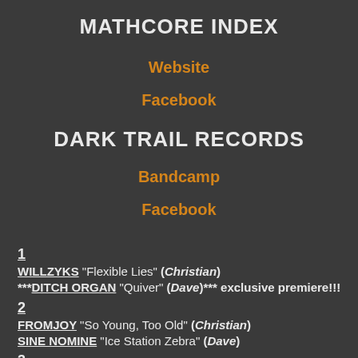MATHCORE INDEX
Website
Facebook
DARK TRAIL RECORDS
Bandcamp
Facebook
1
WILLZYKS "Flexible Lies" (Christian)
***DITCH ORGAN "Quiver" (Dave)*** exclusive premiere!!!
2
FROMJOY "So Young, Too Old" (Christian)
SINE NOMINE "Ice Station Zebra" (Dave)
3